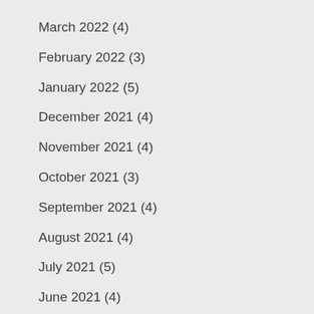March 2022 (4)
February 2022 (3)
January 2022 (5)
December 2021 (4)
November 2021 (4)
October 2021 (3)
September 2021 (4)
August 2021 (4)
July 2021 (5)
June 2021 (4)
May 2021 (5)
April 2021 (4)
March 2021 (5)